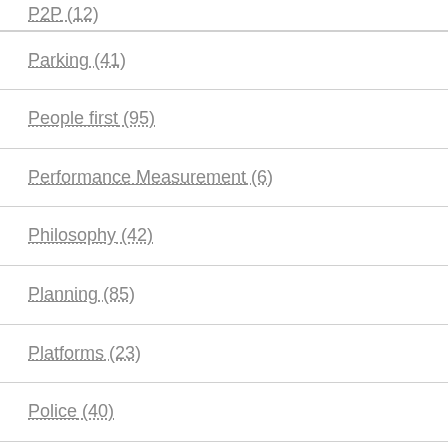P2P (12)
Parking (41)
People first (95)
Performance Measurement (6)
Philosophy (42)
Planning (85)
Platforms (23)
Police (40)
policy (243)
Pollution (86)
Poverty (74)
Pricing (correct) (43)